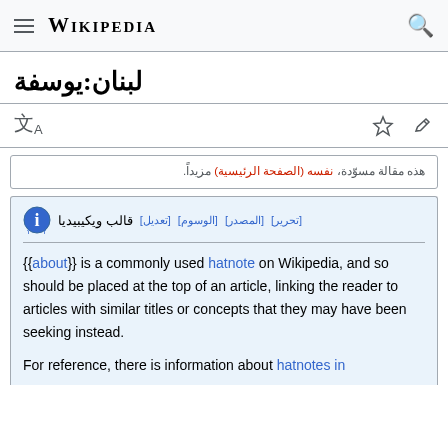Wikipedia
ويكيبيديا:عنوان
هذه المقالة جيدة، انظر (الصفحة الرئيسية) لمزيد.
{{about}} قالب ويكيبيديا[تعديل] [الوسوم] [المصدر] [تحرير]
{{about}} is a commonly used hatnote on Wikipedia, and so should be placed at the top of an article, linking the reader to articles with similar titles or concepts that they may have been seeking instead.
For reference, there is information about hatnotes in ...